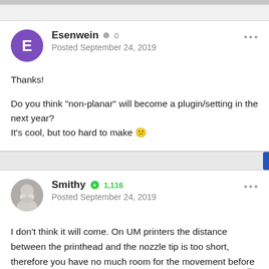Esenwein · 0
Posted September 24, 2019
Thanks!
Do you think "non-planar" will become a plugin/setting in the next year? It's cool, but too hard to make 😢
Smithy · +1,116
Posted September 24, 2019
I don't think it will come. On UM printers the distance between the printhead and the nozzle tip is too short, therefore you have no much room for the movement before you hit the print head body.